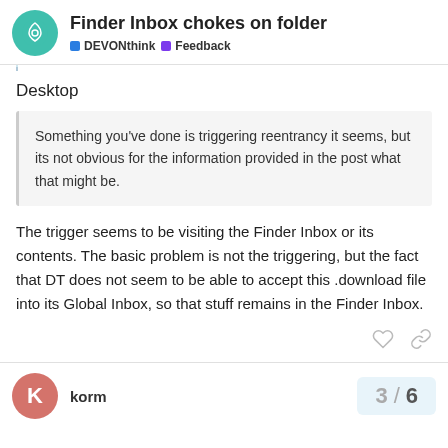Finder Inbox chokes on folder | DEVONthink | Feedback
Desktop
Something you've done is triggering reentrancy it seems, but its not obvious for the information provided in the post what that might be.
The trigger seems to be visiting the Finder Inbox or its contents. The basic problem is not the triggering, but the fact that DT does not seem to be able to accept this .download file into its Global Inbox, so that stuff remains in the Finder Inbox.
korm
3 / 6